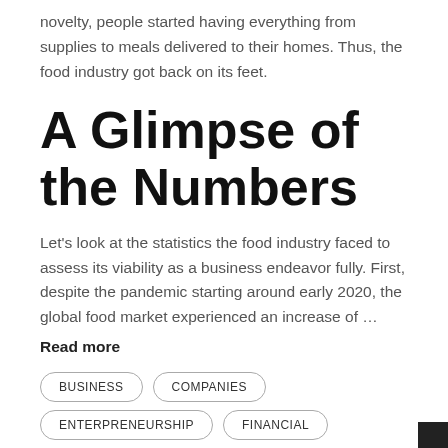novelty, people started having everything from supplies to meals delivered to their homes. Thus, the food industry got back on its feet.
A Glimpse of the Numbers
Let's look at the statistics the food industry faced to assess its viability as a business endeavor fully. First, despite the pandemic starting around early 2020, the global food market experienced an increase of …
Read more
BUSINESS
COMPANIES
ENTERPRENEURSHIP
FINANCIAL